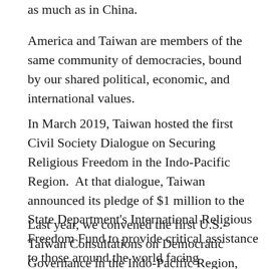as much as in China.
America and Taiwan are members of the same community of democracies, bound by our shared political, economic, and international values.
In March 2019, Taiwan hosted the first Civil Society Dialogue on Securing Religious Freedom in the Indo-Pacific Region.  At that dialogue, Taiwan announced its pledge of $1 million to the State Department's International Religious Freedom Fund to provide critical assistance to those around the world facing discrimination for their religion or beliefs.
Last year, we convened the first U.S.-Taiwan Consultations on Democratic Governance in the Indo-Pacific Region, highlighting some of the many